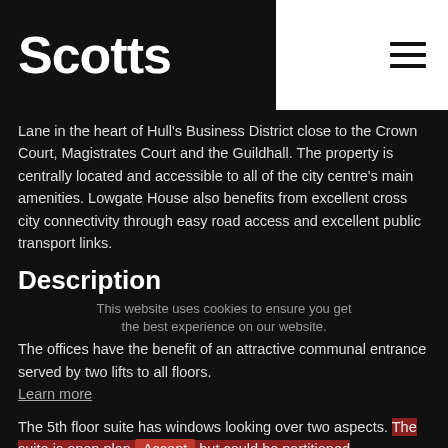Scotts
Lane in the heart of Hull's Business District close to the Crown Court, Magistrates Court and the Guildhall. The property is centrally located and accessible to all of the city centre's main amenities. Lowgate House also benefits from excellent cross city connectivity through easy road access and excellent public transport links.
Description
This website uses cookies to ensure you get the best experience on our website. Learn more
The offices have the benefit of an attractive communal entrance served by two lifts to all floors.
The 5th floor suite has windows looking over two aspects. The suite is open plan but could be partitioned to suit an individual occupier, subject to Landlord approval.